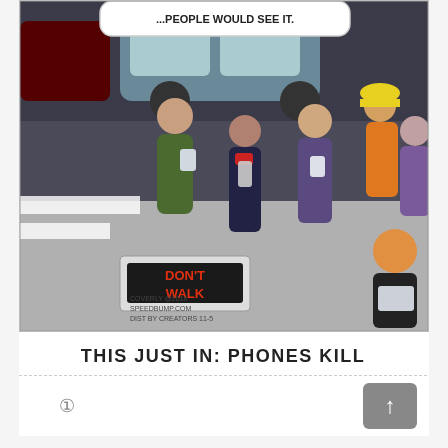[Figure (illustration): A comic strip (Speed Bump by Coverly, 2016) showing multiple pedestrians at a crosswalk, all looking at their phones/tablets, ignoring a 'DON'T WALK' sign on the ground. A speech bubble at the top is partially cut off reading '...PEOPLE WOULD SEE IT.' A construction worker in orange vest and yellow hard hat, a woman with glasses, a redheaded boy and various others are depicted. Signed: COVERLY @2016 SPEEDBUMP.COM DIST BY CREATORS 11-5]
THIS JUST IN: PHONES KILL